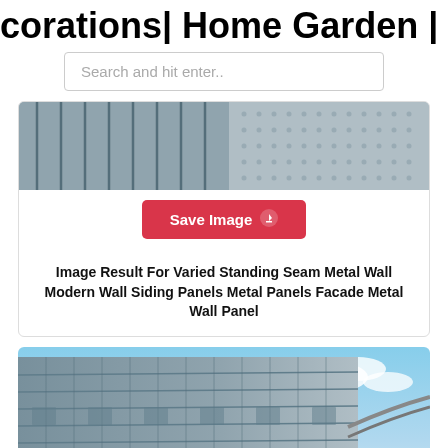corations| Home Garden | Home Fa…
[Figure (screenshot): Search bar with placeholder text 'Search and hit enter..']
[Figure (photo): Close-up photo of standing seam metal wall panels with vertical lines and perforated texture]
Save Image
Image Result For Varied Standing Seam Metal Wall Modern Wall Siding Panels Metal Panels Facade Metal Wall Panel
[Figure (photo): Exterior photo of a large curved building with horizontal metal wall siding panels, blue sky in background]